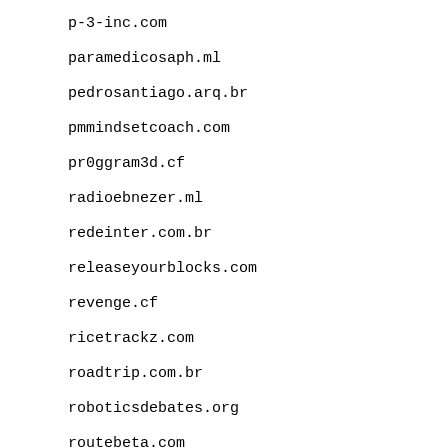p-3-inc.com
paramedicosaph.ml
pedrosantiago.arq.br
pmmindsetcoach.com
pr0ggram3d.cf
radioebnezer.ml
redeinter.com.br
releaseyourblocks.com
revenge.cf
ricetrackz.com
roadtrip.com.br
roboticsdebates.org
routebeta.com
rus-skazka.org